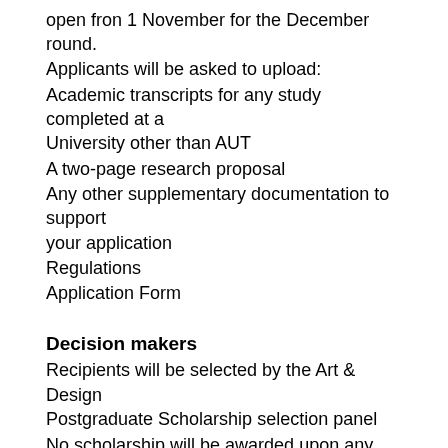open fron 1 November for the December round. Applicants will be asked to upload:
Academic transcripts for any study completed at a University other than AUT
A two-page research proposal
Any other supplementary documentation to support your application
Regulations
Application Form
Decision makers
Recipients will be selected by the Art & Design Postgraduate Scholarship selection panel
No scholarship will be awarded upon any occasion if the panel is of the opinion that there is no applicant of sufficient merit applying for the award
How and when do students learn of the decision?
As soon as possible after the closing date.